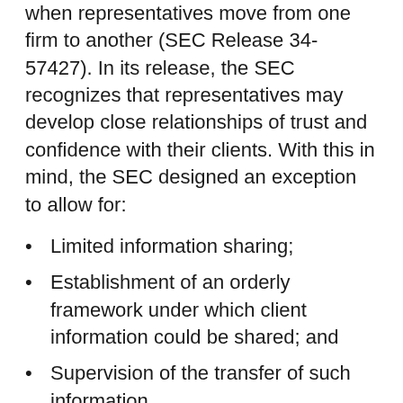when representatives move from one firm to another (SEC Release 34-57427). In its release, the SEC recognizes that representatives may develop close relationships of trust and confidence with their clients. With this in mind, the SEC designed an exception to allow for:
Limited information sharing;
Establishment of an orderly framework under which client information could be shared; and
Supervision of the transfer of such information.
With this design, the proposed exception may